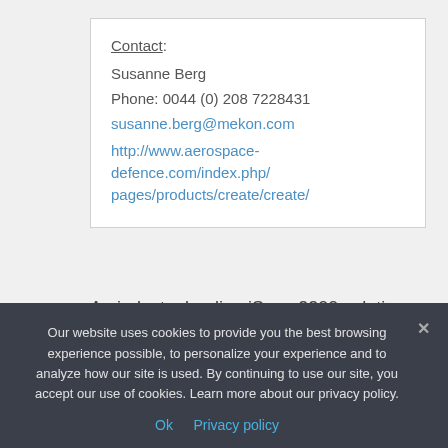Contact: Susanne Berg
Phone: 0044 (0) 208 7228431
susanne.berg@mekon.com
http://www.aerospace-defence.com/index.php/pages/products/create/create/
An industry leading iSpec 2200 solution for Arbortext, designed specifically to meet the
Our website uses cookies to provide you the best browsing experience possible, to personalize your experience and to analyze how our site is used. By continuing to use our site, you accept our use of cookies. Learn more about our privacy policy.